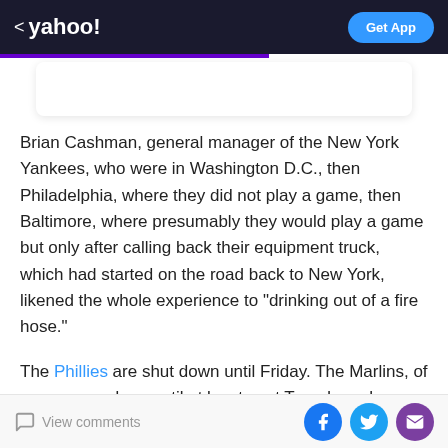< yahoo!  Get App
Brian Cashman, general manager of the New York Yankees, who were in Washington D.C., then Philadelphia, where they did not play a game, then Baltimore, where presumably they would play a game but only after calling back their equipment truck, which had started on the road back to New York, likened the whole experience to “drinking out of a fire hose.”
The Phillies are shut down until Friday. The Marlins, of course, are done until at least next Tuesday, when they are scheduled to host … the Phillies. The Nationals will
View comments